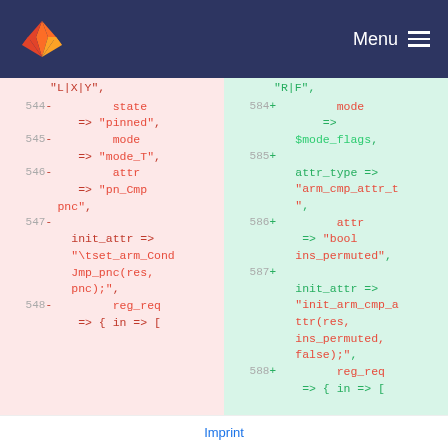Menu
[Figure (screenshot): GitLab diff view showing code changes between two versions, lines 544-548 (left, deletions in red) and 584-588 (right, insertions in green). Code involves state/mode/attr/init_attr/reg_req changes.]
Imprint